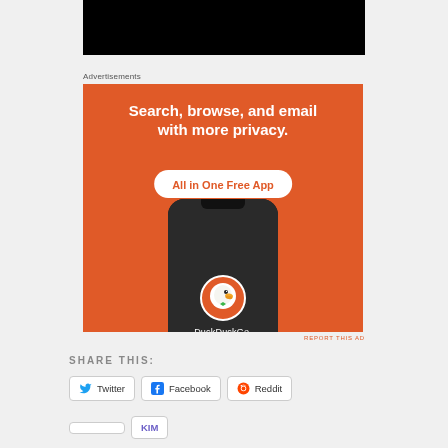[Figure (other): Black bar at top (video/image placeholder)]
Advertisements
[Figure (illustration): DuckDuckGo advertisement: orange background with text 'Search, browse, and email with more privacy.' and 'All in One Free App' badge, showing a smartphone with DuckDuckGo logo and name.]
REPORT THIS AD
SHARE THIS:
Twitter
Facebook
Reddit